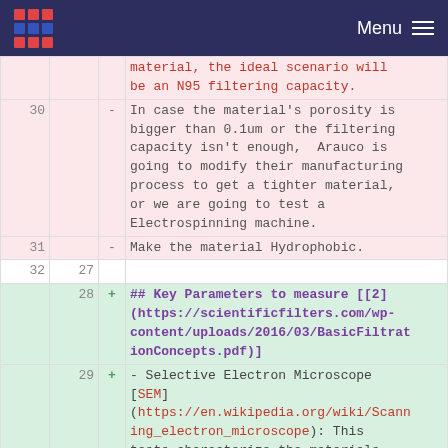Menu
material, the ideal scenario will be an N95 filtering capacity.
30 - In case the material's porosity is bigger than 0.1um or the filtering capacity isn't enough, Arauco is going to modify their manufacturing process to get a tighter material, or we are going to test a Electrospinning machine.
31 - Make the material Hydrophobic.
32  27
## Key Parameters to measure [[2](https://scientificfilters.com/wp-content/uploads/2016/03/BasicFiltrationConcepts.pdf)]
29 + - Selective Electron Microscope [SEM](https://en.wikipedia.org/wiki/Scanning_electron_microscope): This tests characterize the materials